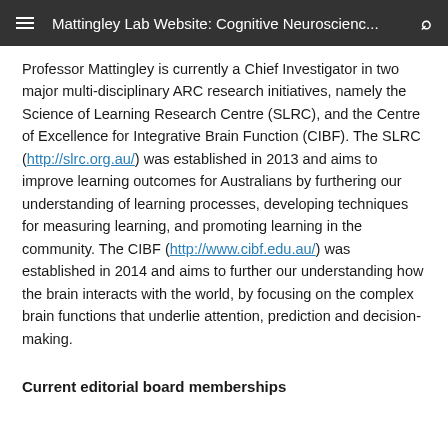Mattingley Lab Website: Cognitive Neuroscienc...
Professor Mattingley is currently a Chief Investigator in two major multi-disciplinary ARC research initiatives, namely the Science of Learning Research Centre (SLRC), and the Centre of Excellence for Integrative Brain Function (CIBF). The SLRC (http://slrc.org.au/) was established in 2013 and aims to improve learning outcomes for Australians by furthering our understanding of learning processes, developing techniques for measuring learning, and promoting learning in the community. The CIBF (http://www.cibf.edu.au/) was established in 2014 and aims to further our understanding how the brain interacts with the world, by focusing on the complex brain functions that underlie attention, prediction and decision-making.
Current editorial board memberships